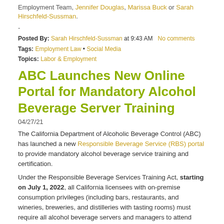Employment Team, Jennifer Douglas, Marissa Buck or Sarah Hirschfeld-Sussman.
-
Posted By: Sarah Hirschfeld-Sussman at 9:43 AM  No comments
Tags: Employment Law • Social Media
Topics: Labor & Employment
ABC Launches New Online Portal for Mandatory Alcohol Beverage Server Training
04/27/21
The California Department of Alcoholic Beverage Control (ABC) has launched a new Responsible Beverage Service (RBS) portal to provide mandatory alcohol beverage service training and certification.
Under the Responsible Beverage Services Training Act, starting on July 1, 2022, all California licensees with on-premise consumption privileges (including bars, restaurants, and wineries, breweries, and distilleries with tasting rooms) must require all alcohol beverage servers and managers to attend responsible beverage service training. All servers and managers in licensees' employment as of July 1, 2022, must attend this training and pass an online RBS exam by August 30, 2022. If any servers or managers were hired after July 1, 2022, then they must attend training and pass the RBS exam within 60 days after their hire date.